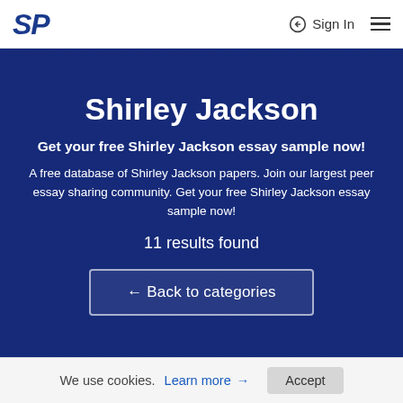SP | Sign In
Shirley Jackson
Get your free Shirley Jackson essay sample now!
A free database of Shirley Jackson papers. Join our largest peer essay sharing community. Get your free Shirley Jackson essay sample now!
11 results found
← Back to categories
We use cookies. Learn more → Accept